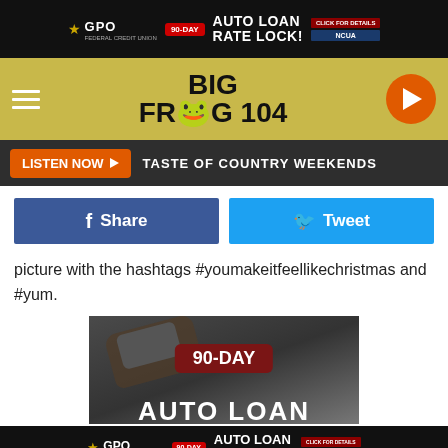[Figure (other): GPO Federal Credit Union 90-Day Auto Loan Rate Lock advertisement banner at top]
[Figure (logo): Big Frog 104 radio station logo with frog emoji, hamburger menu and play button]
LISTEN NOW ▶  TASTE OF COUNTRY WEEKENDS
[Figure (other): Facebook Share and Twitter Tweet social media buttons]
picture with the hashtags #youmakeitfeellikechristmas and #yum.
[Figure (photo): GPO Federal Credit Union 90-Day Auto Loan advertisement image with car key and text overlay]
[Figure (other): GPO Federal Credit Union 90-Day Auto Loan Rate Lock advertisement banner at bottom]